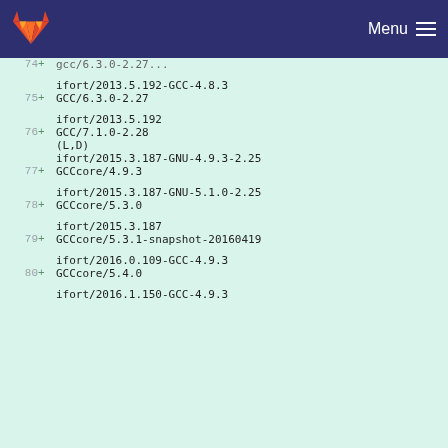GitLab — Menu
gcc/6.3.0-2.27 (partial, line 74+)
ifort/2013.5.192-GCC-4.8.3
75 + GCC/6.3.0-2.27
ifort/2013.5.192
76 + GCC/7.1.0-2.28
(L,D)
ifort/2015.3.187-GNU-4.9.3-2.25
77 + GCCcore/4.9.3
ifort/2015.3.187-GNU-5.1.0-2.25
78 + GCCcore/5.3.0
ifort/2015.3.187
79 + GCCcore/5.3.1-snapshot-20160419
ifort/2016.0.109-GCC-4.9.3
80 + GCCcore/5.4.0
ifort/2016.1.150-GCC-4.9.3